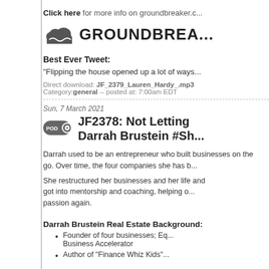Click here for more info on groundbreaker.co
[Figure (logo): Groundbreaker logo with cloud icon and text GROUNDBREAKER]
Best Ever Tweet:
"Flipping the house opened up a lot of ways
Direct download: JF_2379_Lauren_Hardy_.mp3
Category: general -- posted at: 7:00am EDT
Sun, 7 March 2021
JF2378: Not Letting Darrah Brustein #Sh
Darrah used to be an entrepreneur who built businesses on the go. Over time, the four companies she has b
She restructured her businesses and her life and got into mentorship and coaching, helping o passion again.
Darrah Brustein Real Estate Background:
Founder of four businesses; Eq Business Accelerator
Author of "Finance Whiz Kids"